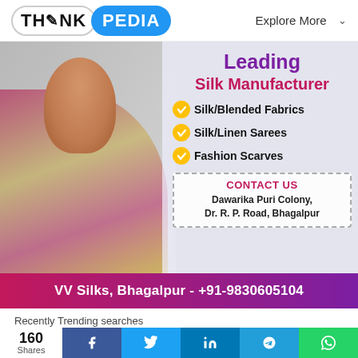THINK PEDIA   Explore More
[Figure (photo): Advertisement banner for VV Silks Bhagalpur showing a woman in a silk saree. Text on the banner reads: Leading Silk Manufacturer. Silk/Blended Fabrics, Silk/Linen Sarees, Fashion Scarves. Contact box: Dawarika Puri Colony, Dr. R. P. Road, Bhagalpur]
VV Silks, Bhagalpur - +91-9830605104
Recently Trending searches
160 Shares